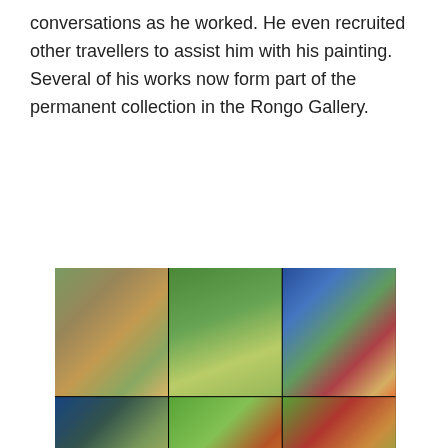conversations as he worked. He even recruited other travellers to assist him with his painting. Several of his works now form part of the permanent collection in the Rongo Gallery.
[Figure (photo): A collage of six photographs showing people painting colorful artworks in what appears to be a gallery or studio setting. The paintings feature bright, bold patterns with circles and floral motifs. Various people — travellers and locals — are seen working on and posing with the large colorful canvases.]